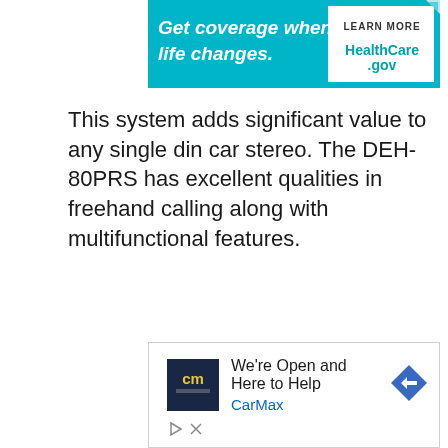[Figure (illustration): HealthCare.gov advertisement banner: teal/cyan background with white italic text 'Get coverage when life changes.' on the left, and on the right a white box with 'LEARN MORE' above 'HealthCare.gov' in teal text, plus a small ad indicator triangle icon.]
This system adds significant value to any single din car stereo. The DEH-80PRS has excellent qualities in freehand calling along with multifunctional features.
[Figure (illustration): CarMax advertisement: white background with CarMax logo (dark navy square with 'cm' in yellow/green letters), text 'We're Open and Here to Help' in black, 'CarMax' in blue below, a navy blue diamond-shaped navigation arrow icon on the right, and small play/close ad control icons at the bottom left.]